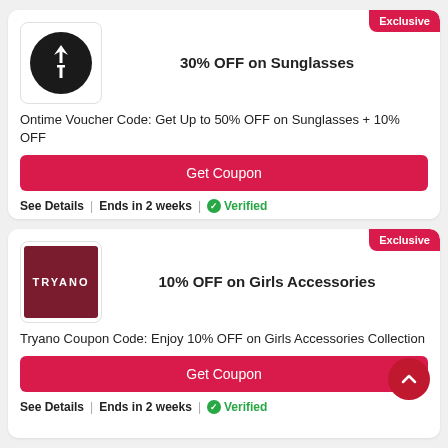[Figure (logo): Ontime brand logo: black circle with white diamond and vertical line symbol]
30% OFF on Sunglasses
Ontime Voucher Code: Get Up to 50% OFF on Sunglasses + 10% OFF
Get Coupon
See Details | Ends in 2 weeks | ✓Verified
[Figure (logo): Tryano brand logo: dark red rectangle with white TRYANO text]
10% OFF on Girls Accessories
Tryano Coupon Code: Enjoy 10% OFF on Girls Accessories Collection
Get Coupon
See Details | Ends in 2 weeks | ✓Verified